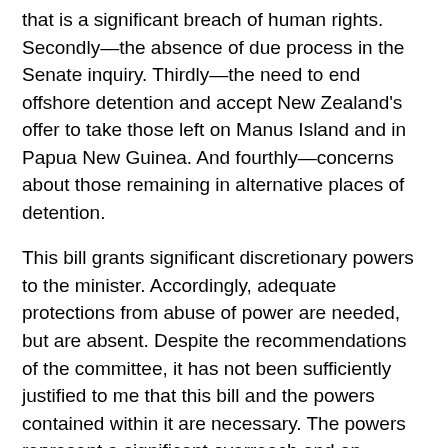that is a significant breach of human rights. Secondly—the absence of due process in the Senate inquiry. Thirdly—the need to end offshore detention and accept New Zealand's offer to take those left on Manus Island and in Papua New Guinea. And fourthly—concerns about those remaining in alternative places of detention.
This bill grants significant discretionary powers to the minister. Accordingly, adequate protections from abuse of power are needed, but are absent. Despite the recommendations of the committee, it has not been sufficiently justified to me that this bill and the powers contained within it are necessary. The powers represent a significant overreach and an unnecessary conference of powers to authorise officers who could be Border Force or—and this is important—private security contractors. This raises enormous alarm bells of abuse for me, and it should for most members in this parliament. The minister's response to the Senate